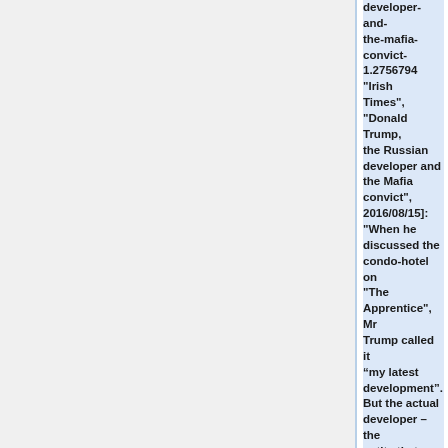developer-and-the-mafia-convict-1.2756794 "Irish Times", "Donald Trump, the Russian developer and the Mafia convict", 2016/08/15]: "When he discussed the condo-hotel on "The Apprentice", Mr Trump called it “my latest development”. But the actual developer – the entity that obtained